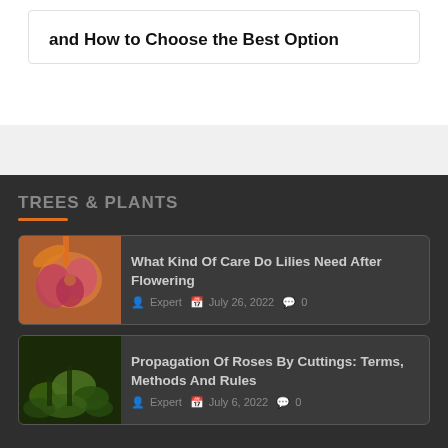and How to Choose the Best Option
TREES & PLANTS
What Kind Of Care Do Lilies Need After Flowering
Expert  July 26, 2022  0
Propagation Of Roses By Cuttings: Terms, Methods And Rules
Expert  July 6, 2022  0